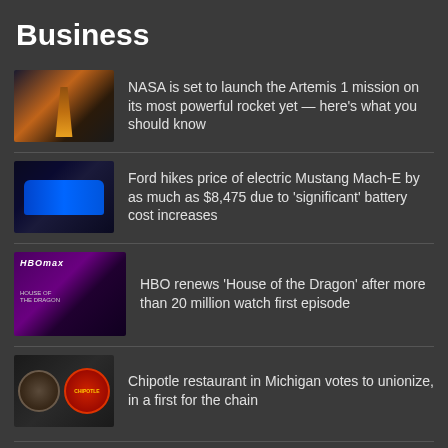Business
NASA is set to launch the Artemis 1 mission on its most powerful rocket yet — here's what you should know
Ford hikes price of electric Mustang Mach-E by as much as $8,475 due to 'significant' battery cost increases
HBO renews 'House of the Dragon' after more than 20 million watch first episode
Chipotle restaurant in Michigan votes to unionize, in a first for the chain